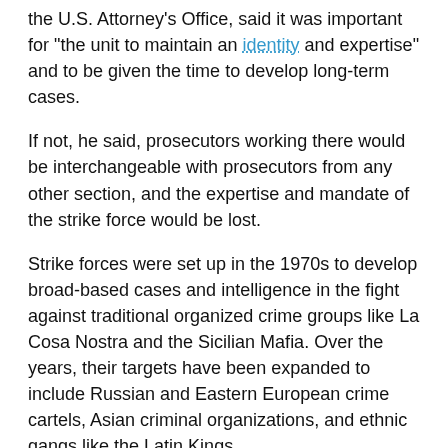the U.S. Attorney's Office, said it was important for "the unit to maintain an identity and expertise" and to be given the time to develop long-term cases.
If not, he said, prosecutors working there would be interchangeable with prosecutors from any other section, and the expertise and mandate of the strike force would be lost.
Strike forces were set up in the 1970s to develop broad-based cases and intelligence in the fight against traditional organized crime groups like La Cosa Nostra and the Sicilian Mafia. Over the years, their targets have been expanded to include Russian and Eastern European crime cartels, Asian criminal organizations, and ethnic gangs like the Latin Kings.
In the Eastern District, the strike force left its biggest mark attacking the South Philadelphia-based mob that once dominated the local underworld.
Perricone said yesterday that he had "tremendous respect" for those accomplishments.